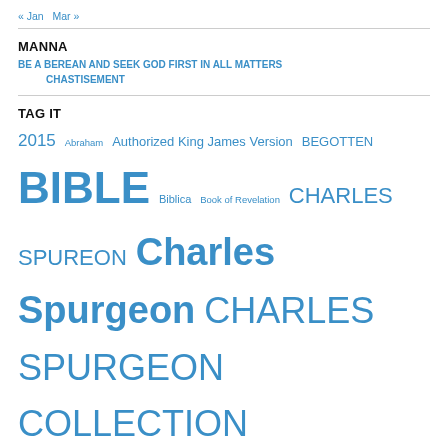« Jan   Mar »
MANNA
BE A BEREAN AND SEEK GOD FIRST IN ALL MATTERS
CHASTISEMENT
TAG IT
2015 Abraham Authorized King James Version BEGOTTEN BIBLE Biblica Book of Revelation CHARLES SPUREON Charles Spurgeon CHARLES SPURGEON COLLECTION CHARLES SPURGEON COLLECTIONS Christ